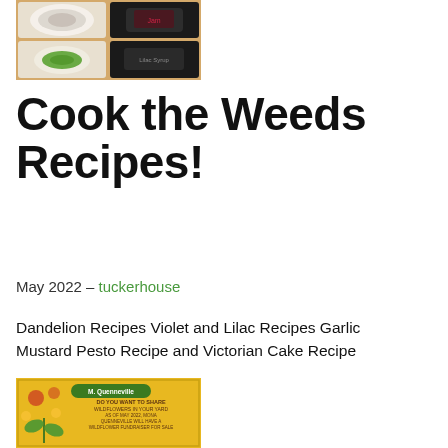[Figure (photo): Collage of food photos showing dishes on plates and jars, with food items including what appears to be a green sauce/dip, and preserved foods in dark jars]
Cook the Weeds Recipes!
May 2022 – tuckerhouse
Dandelion Recipes Violet and Lilac Recipes Garlic Mustard Pesto Recipe and Victorian Cake Recipe
[Figure (photo): Yellow promotional flyer for M. Quenneville featuring text about wildflowers and foraging, with illustrations of plants and flowers on a yellow background]